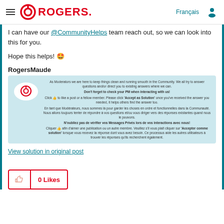Rogers community page header with hamburger menu, Rogers logo, Français link, and user icon
I can have our @CommunityHelps team reach out, so we can look into this for you.
Hope this helps! 🤩
RogersMaude
[Figure (screenshot): Rogers moderator signature card with Rogers logo in speech bubble, bilingual text about moderator role, PM reminder, and solution acceptance instructions]
View solution in original post
0 Likes